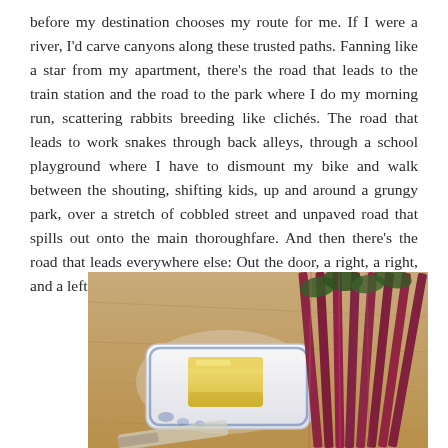before my destination chooses my route for me. If I were a river, I'd carve canyons along these trusted paths. Fanning like a star from my apartment, there's the road that leads to the train station and the road to the park where I do my morning run, scattering rabbits breeding like clichés. The road that leads to work snakes through back alleys, through a school playground where I have to dismount my bike and walk between the shouting, shifting kids, up and around a grungy park, over a stretch of cobbled street and unpaved road that spills out onto the main thoroughfare. And then there's the road that leads everywhere else: Out the door, a right, a right, and a left to Hauptstraße – Main Street.
[Figure (photo): A photograph showing a white rectangular dish with a piece of butter on it, placed on a wooden surface. To the right are bundles of rhubarb stalks with purple-red stems and dark green leaves. A knife handle is partly visible at the bottom.]